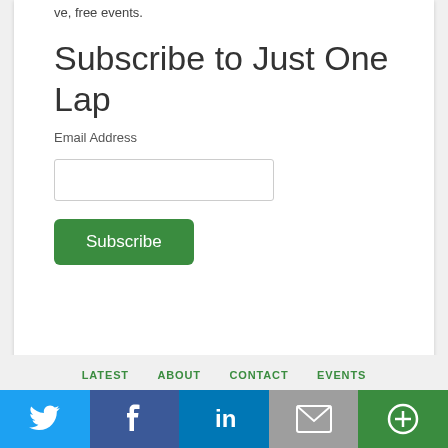ve, free events.
Subscribe to Just One Lap
Email Address
Subscribe (button)
LATEST  ABOUT  CONTACT  EVENTS
[Figure (infographic): Social share bar with Twitter, Facebook, LinkedIn, Email, and More buttons]